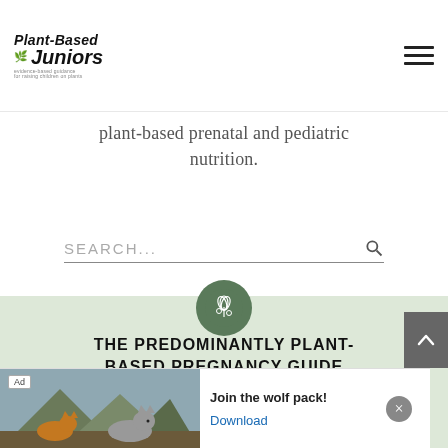Plant-Based Juniors — logo and navigation
plant-based prenatal and pediatric nutrition.
SEARCH...
[Figure (logo): Circular green icon with plant/flower illustration]
THE PREDOMINANTLY PLANT-BASED PREGNANCY GUIDE
Plant-based baby?
YOU'RE COVERED
[Figure (photo): Ad banner showing wolf/fox animals in mountain landscape with text 'Join the wolf pack!' and Download button]